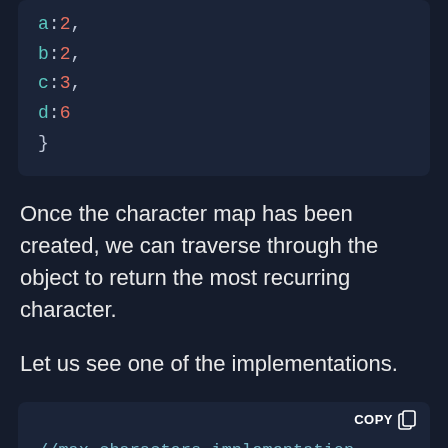[Figure (screenshot): Code block showing object literal with keys a:2, b:2, c:3, d:6 and closing brace]
Once the character map has been created, we can traverse through the object to return the most recurring character.
Let us see one of the implementations.
[Figure (screenshot): Code block with COPY button and comment //max characters implementation]